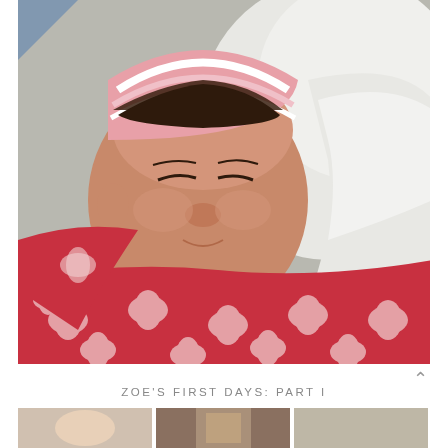[Figure (photo): Close-up photo of a sleeping newborn baby wearing a pink and white striped hospital hat, swaddled in a white blanket, resting against red patterned fabric (fleece with white snowflake/flower design)]
ZOE'S FIRST DAYS: PART I
[Figure (photo): Bottom strip of three thumbnail photos, partially visible, showing additional images from Zoe's first days]